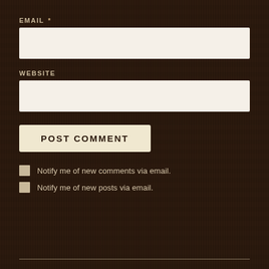EMAIL *
[Figure (screenshot): Empty email input field (white/cream rounded rectangle)]
WEBSITE
[Figure (screenshot): Empty website input field (white/cream rounded rectangle)]
POST COMMENT
Notify me of new comments via email.
Notify me of new posts via email.